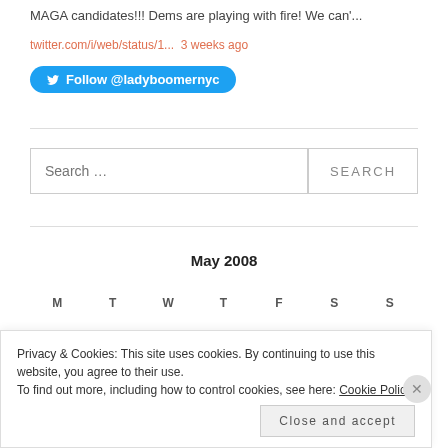MAGA candidates!!! Dems are playing with fire! We can'...
twitter.com/i/web/status/1...  3 weeks ago
Follow @ladyboomernyc
Search …
May 2008
M  T  W  T  F  S  S
Privacy & Cookies: This site uses cookies. By continuing to use this website, you agree to their use. To find out more, including how to control cookies, see here: Cookie Policy
Close and accept